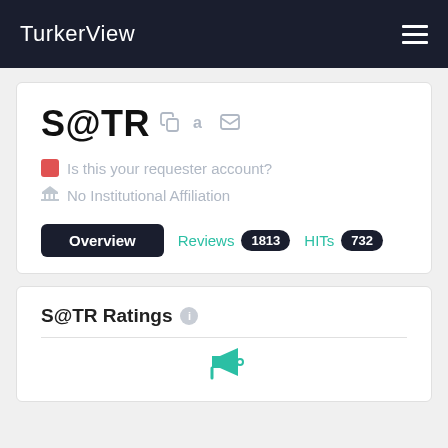TurkerView
S@TR
Is this your requester account?
No Institutional Affiliation
Overview   Reviews 1813   HITs 732
S@TR Ratings